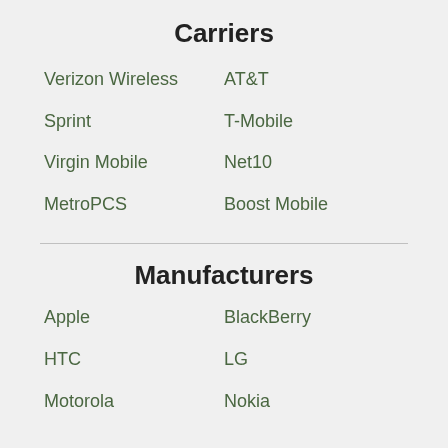Carriers
Verizon Wireless
AT&T
Sprint
T-Mobile
Virgin Mobile
Net10
MetroPCS
Boost Mobile
Manufacturers
Apple
BlackBerry
HTC
LG
Motorola
Nokia